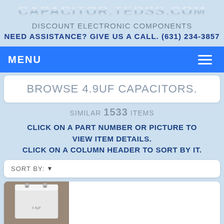CAPACITOR.TEDSS.COM
DISCOUNT ELECTRONIC COMPONENTS
NEED ASSISTANCE? GIVE US A CALL. (631) 234-3857
MENU
BROWSE 4.9UF CAPACITORS.
SIMILAR 1533 ITEMS
CLICK ON A PART NUMBER OR PICTURE TO VIEW ITEM DETAILS. CLICK ON A COLUMN HEADER TO SORT BY IT.
SORT BY:
[Figure (photo): Photo of a white rectangular capacitor component on a gray background]